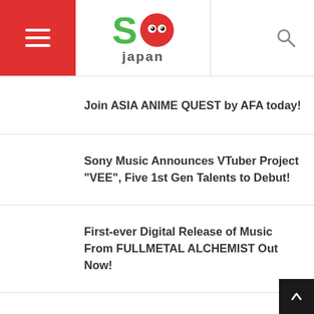SO Japan – site header with hamburger menu, logo, and search icon
Join ASIA ANIME QUEST by AFA today!
Sony Music Announces VTuber Project "VEE", Five 1st Gen Talents to Debut!
First-ever Digital Release of Music From FULLMETAL ALCHEMIST Out Now!
Overseas Streaming of Conceptual Concert "INSIDE THE FIRST TAKE" on Stagecrowd…